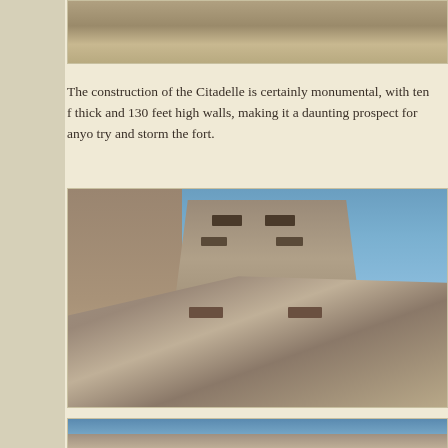[Figure (photo): Top portion of a stone texture / citadelle wall surface, cropped at top of page]
The construction of the Citadelle is certainly monumental, with ten f[eet] thick and 130 feet high walls, making it a daunting prospect for anyo[ne to] try and storm the fort.
[Figure (photo): Looking up at the imposing stone walls and tower of the Citadelle against a blue sky, showing the thick angled walls with small window openings]
[Figure (photo): Bottom partial photo showing blue sky and stone structure of the Citadelle, cropped at bottom of page]